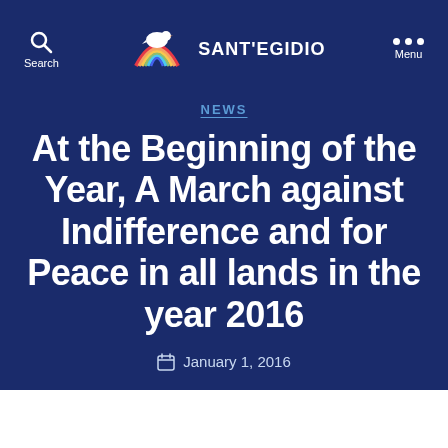Search | SANT'EGIDIO | Menu
NEWS
At the Beginning of the Year, A March against Indifference and for Peace in all lands in the year 2016
January 1, 2016